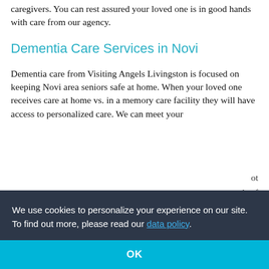caregivers. You can rest assured your loved one is in good hands with care from our agency.
Dementia Care Services in Novi
Dementia care from Visiting Angels Livingston is focused on keeping Novi area seniors safe at home. When your loved one receives care at home vs. in a memory care facility they will have access to personalized care. We can meet your loved one's needs as they change. We do not require long-term contracts or a minimum number of hours of care. Our care coordinators also work with you to ensure that your loved one receives as your loved one's disorder progresses, our
We use cookies to personalize your experience on our site. To find out more, please read our data policy.
OK